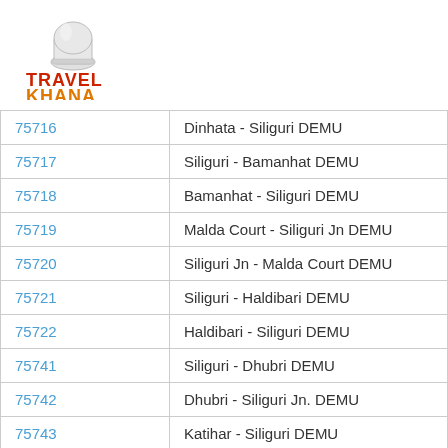[Figure (logo): Travel Khana logo with chef hat icon, TRAVEL in red and KHANA in orange text]
| 75716 | Dinhata - Siliguri DEMU |
| 75717 | Siliguri - Bamanhat DEMU |
| 75718 | Bamanhat - Siliguri DEMU |
| 75719 | Malda Court - Siliguri Jn DEMU |
| 75720 | Siliguri Jn - Malda Court DEMU |
| 75721 | Siliguri - Haldibari DEMU |
| 75722 | Haldibari - Siliguri DEMU |
| 75741 | Siliguri - Dhubri DEMU |
| 75742 | Dhubri - Siliguri Jn. DEMU |
| 75743 | Katihar - Siliguri DEMU |